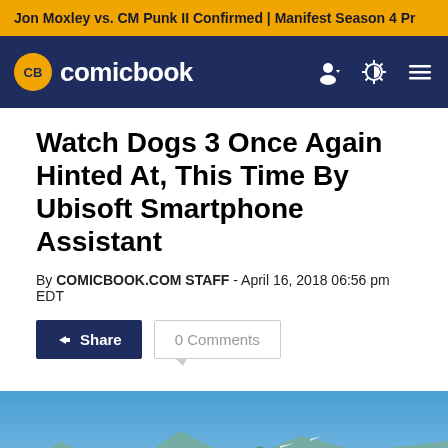Jon Moxley vs. CM Punk II Confirmed | Manifest Season 4 Pr
comicbook
Watch Dogs 3 Once Again Hinted At, This Time By Ubisoft Smartphone Assistant
By COMICBOOK.COM STAFF - April 16, 2018 06:56 pm EDT
Share
0 Comments
[Figure (photo): Watch Dogs 2 promotional image showing a character wearing a cap with the San Francisco skyline and Golden Gate Bridge in the background under a blue sky]